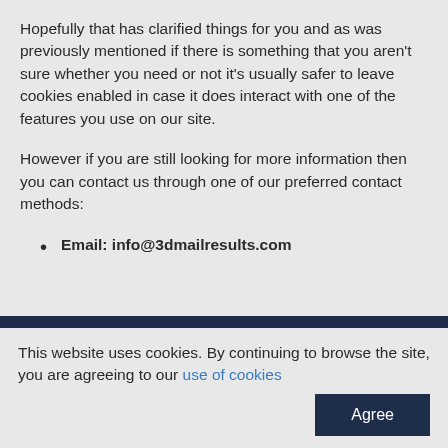Hopefully that has clarified things for you and as was previously mentioned if there is something that you aren't sure whether you need or not it's usually safer to leave cookies enabled in case it does interact with one of the features you use on our site.
However if you are still looking for more information then you can contact us through one of our preferred contact methods:
Email: info@3dmailresults.com
This website uses cookies. By continuing to browse the site, you are agreeing to our use of cookies